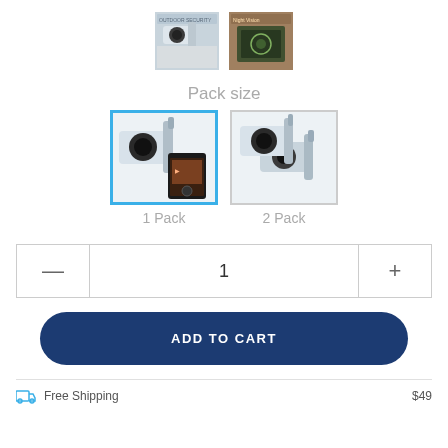[Figure (screenshot): Two product thumbnail images of security cameras at top center]
Pack size
[Figure (screenshot): 1 Pack option selected with blue border showing single camera and phone app]
1 Pack
[Figure (screenshot): 2 Pack option showing two cameras]
2 Pack
1
ADD TO CART
Free Shipping          $49